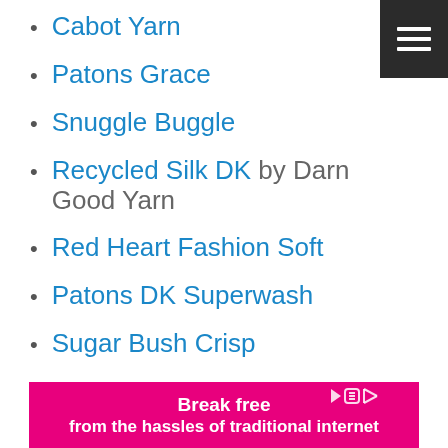Cabot Yarn
Patons Grace
Snuggle Buggle
Recycled Silk DK by Darn Good Yarn
Red Heart Fashion Soft
Patons DK Superwash
Sugar Bush Crisp
Patons Hempster
Caron Cupcakes
[Figure (other): Dark hamburger menu button in top right corner with three white horizontal lines]
[Figure (other): Pink advertisement banner reading 'Break free from the hassles of traditional internet']